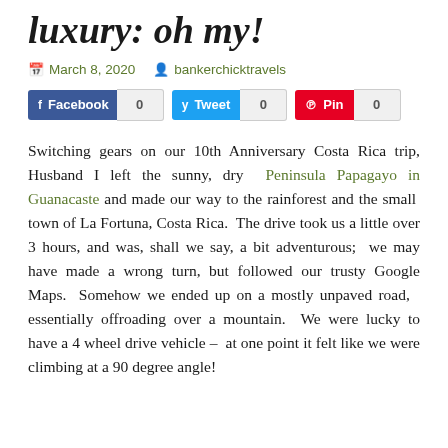luxury: oh my!
March 8, 2020   bankerchicktravels
Facebook 0   Tweet 0   Pin 0
Switching gears on our 10th Anniversary Costa Rica trip, Husband I left the sunny, dry Peninsula Papagayo in Guanacaste and made our way to the rainforest and the small town of La Fortuna, Costa Rica. The drive took us a little over 3 hours, and was, shall we say, a bit adventurous; we may have made a wrong turn, but followed our trusty Google Maps. Somehow we ended up on a mostly unpaved road, essentially offroading over a mountain. We were lucky to have a 4 wheel drive vehicle – at one point it felt like we were climbing at a 90 degree angle!